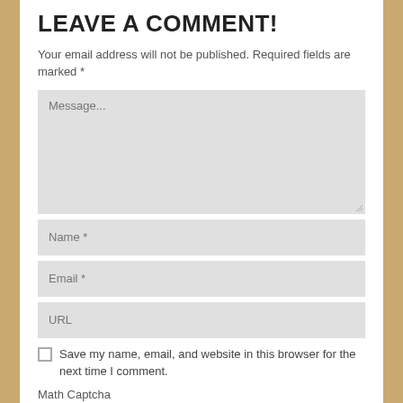LEAVE A COMMENT!
Your email address will not be published. Required fields are marked *
[Figure (screenshot): Web comment form with Message textarea, Name field, Email field, URL field, a save-my-name checkbox, Math Captcha label, and a 14 – 7 = equation with an input box.]